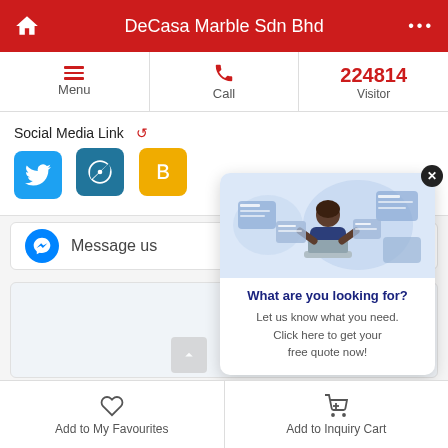DeCasa Marble Sdn Bhd
Menu | Call | 224814 Visitor
Social Media Link
[Figure (screenshot): Social media icons: Twitter (blue), WordPress (teal), Bootstrap (orange/yellow)]
Message us
[Figure (illustration): Map or content embedding area with a popup overlay showing a person at a computer with floating UI elements. Popup text: 'What are you looking for? Let us know what you need. Click here to get your free quote now!']
What are you looking for?
Let us know what you need. Click here to get your free quote now!
Add to My Favourites | Add to Inquiry Cart